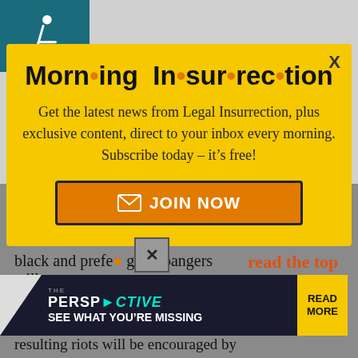[Figure (screenshot): Accessibility icon (wheelchair symbol) on teal background in top-left corner]
From a “will they riot when innocence is proven” perspective, no white males removes fuel from
[Figure (screenshot): Morning Insurrection popup modal with yellow background. Title: 'Morn·ing In·sur·rec·tion'. Body: 'Get the latest news from Legal Insurrection, plus exclusive content, direct to your inbox every morning. Subscribe today – it’s free!' with a JOIN NOW button. X close button in top right.]
black and prefe• gang-bangers will
[Figure (screenshot): Perspective promo banner at bottom: 'THE PERSPECTIVE - SEE WHAT YOU'RE MISSING' with READ MORE button in yellow]
resulting riots will be encouraged by